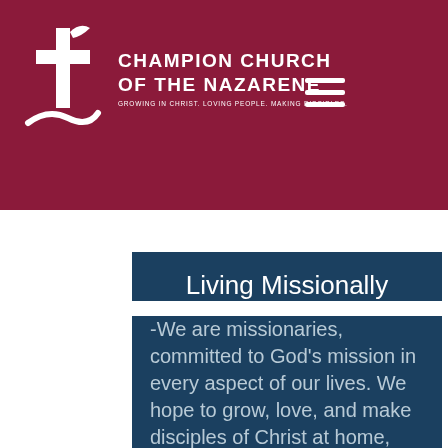[Figure (logo): Champion Church of the Nazarene logo with cross and dove icon on dark red/maroon background header bar]
live
es. We
Christ
pirit.
Living Missionally
-We are missionaries, committed to God's mission in every aspect of our lives. We hope to grow, love, and make disciples of Christ at home, work, school, and the community
-We seek to meet people where they are at with love